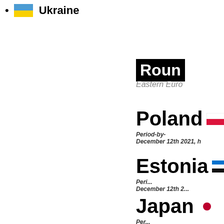Ukraine
Roun
Eastern Euro
Poland
Period-by-
December 12th 2021, h
Estonia
Period-by-
December 12th 2...
Japan
Per-
December 12th 2021, h
Ukraine
Period-by-
December 14th 2021, h